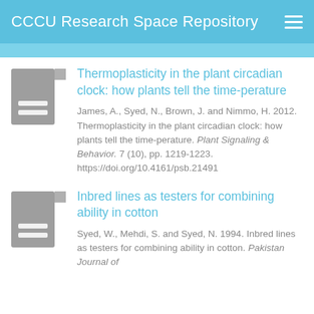CCCU Research Space Repository
Thermoplasticity in the plant circadian clock: how plants tell the time-perature
James, A., Syed, N., Brown, J. and Nimmo, H. 2012. Thermoplasticity in the plant circadian clock: how plants tell the time-perature. Plant Signaling & Behavior. 7 (10), pp. 1219-1223. https://doi.org/10.4161/psb.21491
Inbred lines as testers for combining ability in cotton
Syed, W., Mehdi, S. and Syed, N. 1994. Inbred lines as testers for combining ability in cotton. Pakistan Journal of